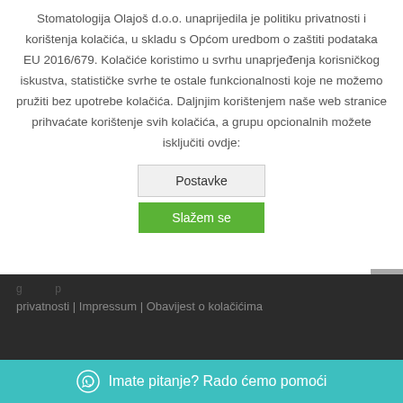Stomatologija Olajoš d.o.o. unaprijedila je politiku privatnosti i korištenja kolačića, u skladu s Općom uredbom o zaštiti podataka EU 2016/679. Kolačiće koristimo u svrhu unaprjeđenja korisničkog iskustva, statističke svrhe te ostale funkcionalnosti koje ne možemo pružiti bez upotrebe kolačića. Daljnjim korištenjem naše web stranice prihvaćate korištenje svih kolačića, a grupu opcionalnih možete isključiti ovdje:
Postavke
Slažem se
privatnosti | Impressum | Obavijest o kolačićima
Imate pitanje? Rado ćemo pomoći